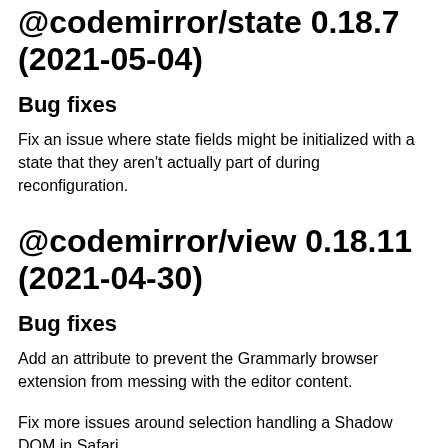@codemirror/state 0.18.7 (2021-05-04)
Bug fixes
Fix an issue where state fields might be initialized with a state that they aren't actually part of during reconfiguration.
@codemirror/view 0.18.11 (2021-04-30)
Bug fixes
Add an attribute to prevent the Grammarly browser extension from messing with the editor content.
Fix more issues around selection handling a Shadow DOM in Safari.